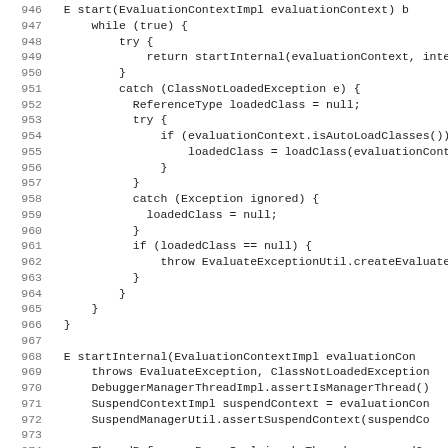Source code lines 946-978 showing Java debugger evaluation context implementation with while loop, try-catch blocks, class loading, and startInternal method signature.